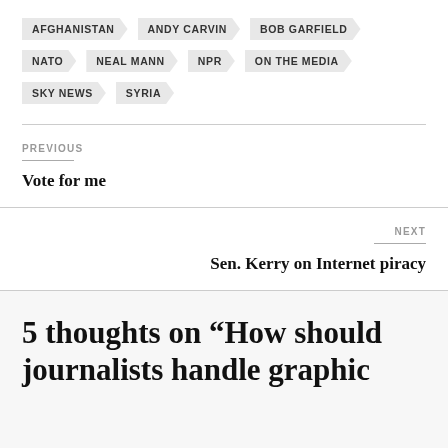AFGHANISTAN
ANDY CARVIN
BOB GARFIELD
NATO
NEAL MANN
NPR
ON THE MEDIA
SKY NEWS
SYRIA
PREVIOUS
Vote for me
NEXT
Sen. Kerry on Internet piracy
5 thoughts on “How should journalists handle graphic